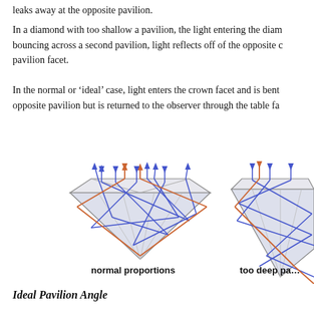leaks away at the opposite pavilion.
In a diamond with too shallow a pavilion, the light entering the diamond instead of bouncing across a second pavilion, light reflects off of the opposite crown rather than pavilion facet.
In the normal or ‘ideal’ case, light enters the crown facet and is bent toward the opposite pavilion but is returned to the observer through the table fa…
[Figure (illustration): Two diamond cross-section diagrams showing light ray paths. Left diagram labeled 'normal proportions' shows a standard cut diamond with blue and orange light rays bouncing correctly through pavilion facets. Right diagram (partially visible) labeled 'too deep pa...' shows a deep pavilion cut with light ray paths leaking.]
normal proportions
too deep pa…
Ideal Pavilion Angle